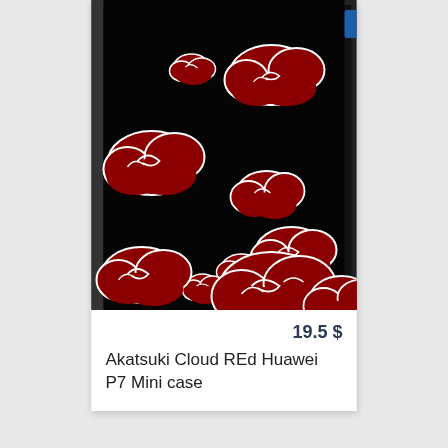[Figure (photo): A smartphone phone case with black background and red Akatsuki cloud pattern (from Naruto anime). Multiple red clouds with white outlines are scattered across the black surface. The phone has a slim black frame. A blue button/tab is visible on the right edge.]
19.5 $
Akatsuki Cloud REd Huawei P7 Mini case